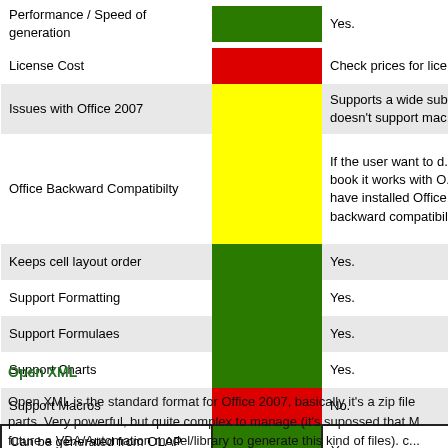| Feature | Status | Description |
| --- | --- | --- |
| Performance / Speed of generation | Green | Yes. |
| License Cost | Red | Check prices for lic... |
| Issues with Office 2007 | Yellow | Supports a wide sub... doesn't support mac... |
| Office Backward Compatibilty | Yellow | If the user want to d... book it works with O... have installed Office... backward compatibil... |
| Keeps cell layout order | Green | Yes. |
| Support Formatting | Green | Yes. |
| Support Formulaes | Green | Yes. |
| Support Charts | Green | Yes. |
| Support Macros | Red | No. |
| Can be generated from OLAP Datasource | Green | Yes. |
| Can be combined with XSL technologies | Gray | N/A |
Open XML
Open XML is the standard format for Office 2007, basically it's a zip file parts. Very powerful, but quite complex to manage (it's supossed that M future a VBA/Automation model/library to generate this kind of files). c...